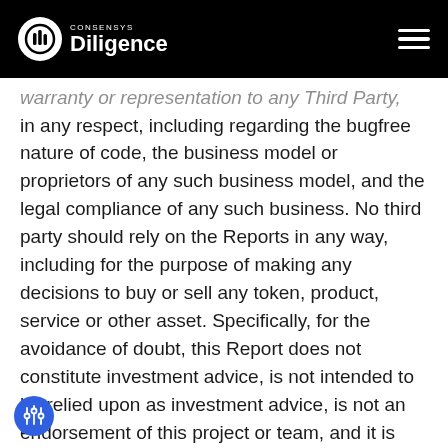CONSENSYS Diligence
warranty or representation to any Third Party, in any respect, including regarding the bugfree nature of code, the business model or proprietors of any such business model, and the legal compliance of any such business. No third party should rely on the Reports in any way, including for the purpose of making any decisions to buy or sell any token, product, service or other asset. Specifically, for the avoidance of doubt, this Report does not constitute investment advice, is not intended to be relied upon as investment advice, is not an endorsement of this project or team, and it is